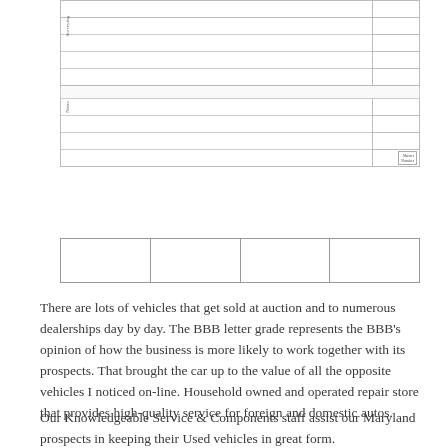|  |  |  |
| Surveying |  |  |
|  |  |  |
|  |  |  |
|  |  |  |
| Notes |  |  |
|  |  |  |
|  |  |  |
|  |  |  |
|  |  |  |  |
There are lots of vehicles that get sold at auction and to numerous dealerships day by day. The BBB letter grade represents the BBB's opinion of how the business is more likely to work together with its prospects. That brought the car up to the value of all the opposite vehicles I noticed on-line. Household owned and operated repair store that provides high-quality service for foreign and domestic autos.
Our Knowledgeable Service & Components staff assist our Maryland prospects in keeping their Used vehicles in great form.